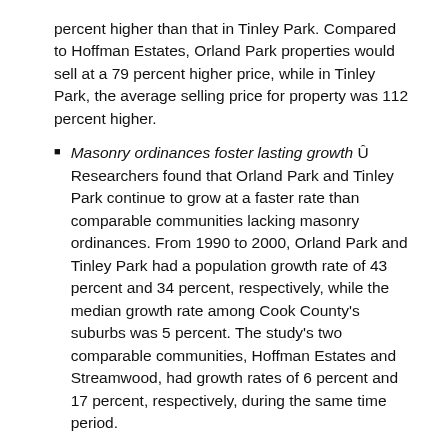percent higher than that in Tinley Park. Compared to Hoffman Estates, Orland Park properties would sell at a 79 percent higher price, while in Tinley Park, the average selling price for property was 112 percent higher.
Masonry ordinances foster lasting growth Û Researchers found that Orland Park and Tinley Park continue to grow at a faster rate than comparable communities lacking masonry ordinances. From 1990 to 2000, Orland Park and Tinley Park had a population growth rate of 43 percent and 34 percent, respectively, while the median growth rate among Cook County's suburbs was 5 percent. The study's two comparable communities, Hoffman Estates and Streamwood, had growth rates of 6 percent and 17 percent, respectively, during the same time period.
Communities experience reduced overall tax burden Û The